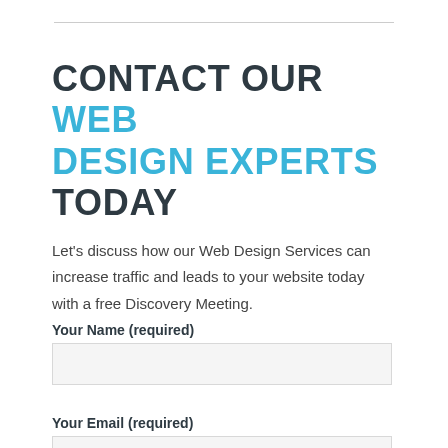CONTACT OUR WEB DESIGN EXPERTS TODAY
Let's discuss how our Web Design Services can increase traffic and leads to your website today with a free Discovery Meeting.
Your Name (required)
Your Email (required)